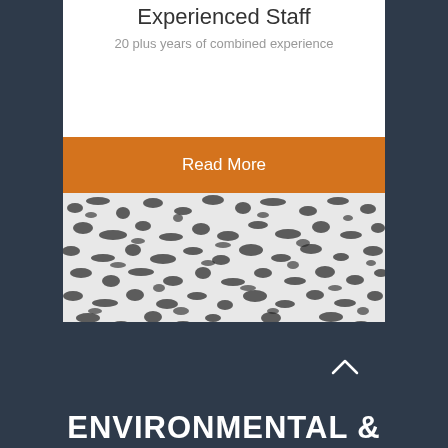Experienced Staff
20 plus years of combined experience
Read More
[Figure (photo): Close-up texture photo of a grainy black and white material surface]
[Figure (photo): Dark navy background section with a small upward chevron arrow icon]
ENVIRONMENTAL &